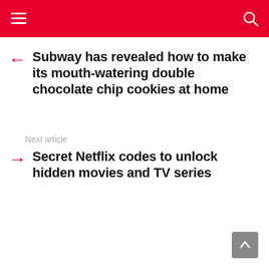Subway has revealed how to make its mouth-watering double chocolate chip cookies at home
Next article
Secret Netflix codes to unlock hidden movies and TV series